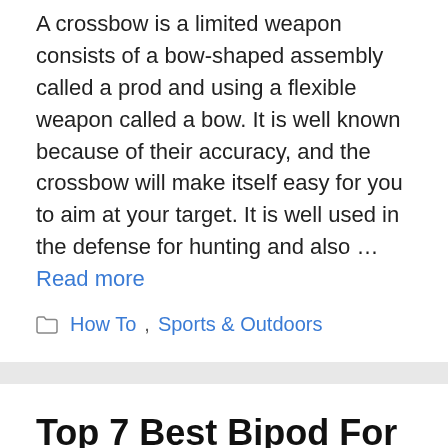A crossbow is a limited weapon consists of a bow-shaped assembly called a prod and using a flexible weapon called a bow. It is well known because of their accuracy, and the crossbow will make itself easy for you to aim at your target. It is well used in the defense for hunting and also … Read more
How To, Sports & Outdoors
Top 7 Best Bipod For Ruger Precision Rifles 2022 – Complete Review
July 6, 2022 by Simeon Richardson